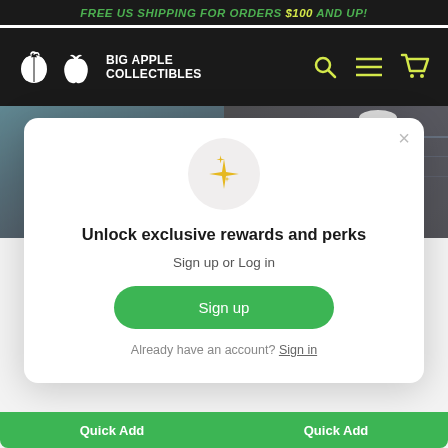FREE US SHIPPING FOR ORDERS $100 AND UP!
[Figure (logo): Big Apple Collectibles logo with apple icon and white text on dark background]
[Figure (screenshot): Two product images: left shows a brown-hooded figure collectible against a moonlit teal sky; right shows a figure in sunglasses and jacket against a dark background]
Unlock exclusive rewards and perks
Sign up or Log in
Sign up
Already have an account? Sign in
Quick Add
Quick Add